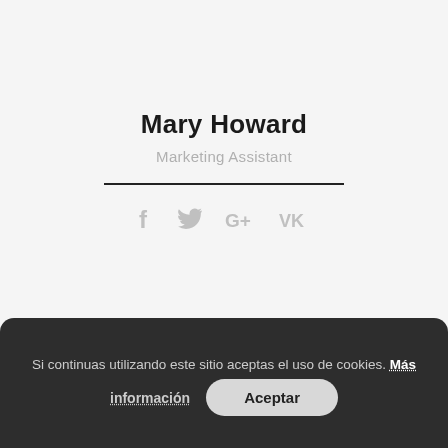Mary Howard
Marketing Assistant
[Figure (infographic): Social media icons: Facebook, Twitter, Google+, VK in gray]
Viktor Pashutin
Marketing Manager
Si continuas utilizando este sitio aceptas el uso de cookies. Más información  Aceptar